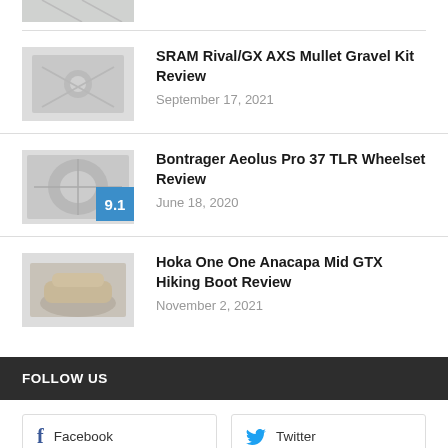[Figure (photo): Partial thumbnail image at top of page, cropped]
SRAM Rival/GX AXS Mullet Gravel Kit Review
September 17, 2021
[Figure (photo): Thumbnail image of Bontrager Aeolus Pro 37 TLR Wheelset with 9.1 score badge]
Bontrager Aeolus Pro 37 TLR Wheelset Review
June 18, 2020
[Figure (photo): Thumbnail image of Hoka One One Anacapa Mid GTX Hiking Boot]
Hoka One One Anacapa Mid GTX Hiking Boot Review
November 2, 2021
FOLLOW US
Facebook
Twitter